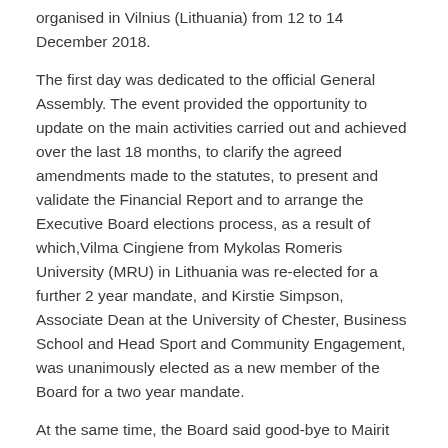organised in Vilnius (Lithuania) from 12 to 14 December 2018.
The first day was dedicated to the official General Assembly. The event provided the opportunity to update on the main activities carried out and achieved over the last 18 months, to clarify the agreed amendments made to the statutes, to present and validate the Financial Report and to arrange the Executive Board elections process, as a result of which,Vilma Cingiene from Mykolas Romeris University (MRU) in Lithuania was re-elected for a further 2 year mandate, and Kirstie Simpson, Associate Dean at the University of Chester, Business School and Head Sport and Community Engagement, was unanimously elected as a new member of the Board for a two year mandate.
At the same time, the Board said good-bye to Mairit Pellinen, from Sport Institute of Finland, who stood down from the Board. She was thanked for her contribution.
The President, Prof. Thierry Zintz was happy to report a very busy and successful year and the full Activity Report and accounts were presented and accepted by Members.
Additionally, a policy update session was arranged to highlight the main priorities from EU Policies in education, employment and sport in